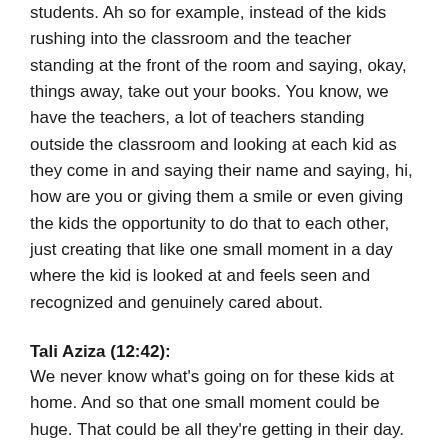students. Ah so for example, instead of the kids rushing into the classroom and the teacher standing at the front of the room and saying, okay, things away, take out your books. You know, we have the teachers, a lot of teachers standing outside the classroom and looking at each kid as they come in and saying their name and saying, hi, how are you or giving them a smile or even giving the kids the opportunity to do that to each other, just creating that like one small moment in a day where the kid is looked at and feels seen and recognized and genuinely cared about.
Tali Aziza (12:42):
We never know what's going on for these kids at home. And so that one small moment could be huge. That could be all they're getting in their day. So not to underestimate the power that you have. And, and I know that isn't time, there, there is no time as a teacher it's.